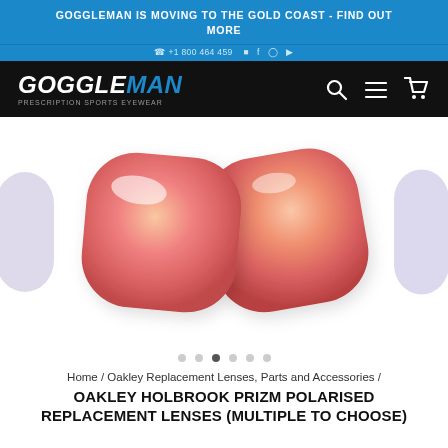GOGGLEMAN IS MOVING TO THE GOLD COAST - FIND OUT MORE
+1 800 464 459 [social icons]
[Figure (logo): Goggleman logo - white/blue italic text on black nav bar with search, menu, and cart icons]
[Figure (photo): Oakley Holbrook Prizm Polarised replacement lenses in rose/pink-gold mirror finish, two lenses overlapping, displayed on white background with partial lavender lens visible on right edge]
• • ● • • •  (carousel dots, third active)
Home / Oakley Replacement Lenses, Parts and Accessories /
OAKLEY HOLBROOK PRIZM POLARISED REPLACEMENT LENSES (MULTIPLE TO CHOOSE)